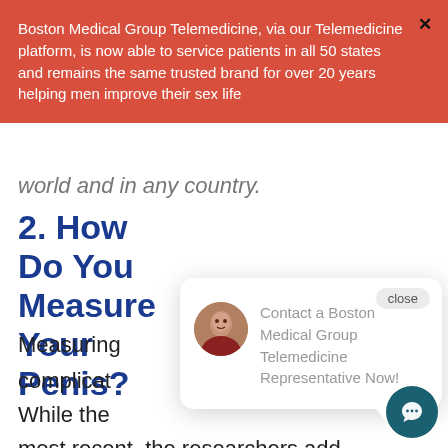Boston Medical Group Telemedicine, via our Telemedicine platform, is now able to service patients in all 50 states and remains the same trusted brand for over 20 years helping men improve their sex life
world and in any country.
2. How Do You Measure Your Penis?
Measuring
complicated
While the
most recent, the researchers add that, like all other studies, the participants in them might not
[Figure (other): Chat popup showing avatar photo of a woman and text: Contact a Boston Medical Group Telemedicine Representative Now! with a close button and speech bubble tail]
[Figure (other): Teal circular chat icon button at bottom right]